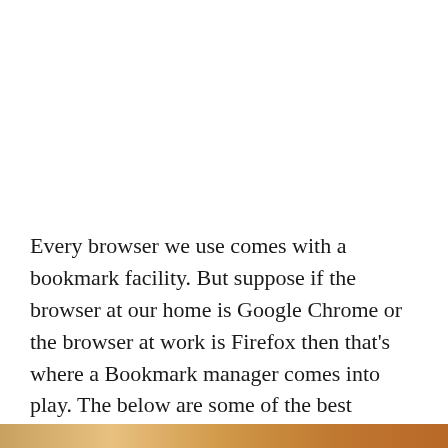Every browser we use comes with a bookmark facility. But suppose if the browser at our home is Google Chrome or the browser at work is Firefox then that's where a Bookmark manager comes into play. The below are some of the best bookmark managers.
[Figure (photo): Partial photo visible at the bottom of the page, showing warm orange-brown tones.]